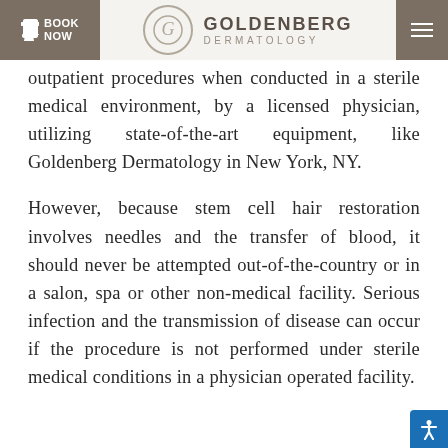BOOK NOW | GOLDENBERG DERMATOLOGY
outpatient procedures when conducted in a sterile medical environment, by a licensed physician, utilizing state-of-the-art equipment, like Goldenberg Dermatology in New York, NY.
However, because stem cell hair restoration involves needles and the transfer of blood, it should never be attempted out-of-the-country or in a salon, spa or other non-medical facility. Serious infection and the transmission of disease can occur if the procedure is not performed under sterile medical conditions in a physician operated facility.